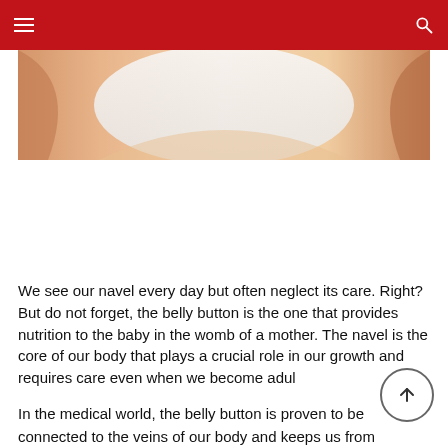Navigation bar with menu and search icons
[Figure (photo): Close-up photo of a pregnant woman's belly in a white top, showing the navel area]
We see our navel every day but often neglect its care. Right? But do not forget, the belly button is the one that provides nutrition to the baby in the womb of a mother. The navel is the core of our body that plays a crucial role in our growth and requires care even when we become adults.
In the medical world, the belly button is proven to be connected to the veins of our body and keeps us from